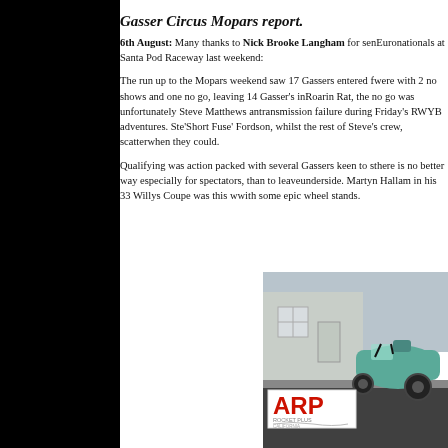Gasser Circus Mopars report.
6th August: Many thanks to Nick Brooke Langham for sending in this report from the Euronationals at Santa Pod Raceway last weekend:
The run up to the Mopars weekend saw 17 Gassers entered for the event, unfortunately there were with 2 no shows and one no go, leaving 14 Gasser's in the pits. The no shows were Roarin Rat, the no go was unfortunately Steve Matthews and his awesome Corvette, with a transmission failure during Friday's RWYB adventures. Steve worked hard on fixing his 'Short Fuse' Fordson, whilst the rest of Steve's crew, scattered around helping other cars when they could.
Qualifying was action packed with several Gassers keen to show off their talents, and as there is no better way especially for spectators, than to leave the front wheels showing their underside. Martyn Hallam in his 33 Willys Coupe was this weekend's wheel stand king with some epic wheel stands.
[Figure (photo): Photo of a vintage gasser car (teal/green 1933 Willys Coupe) on the drag strip at Santa Pod Raceway, with ARP sponsor signage visible in the foreground.]